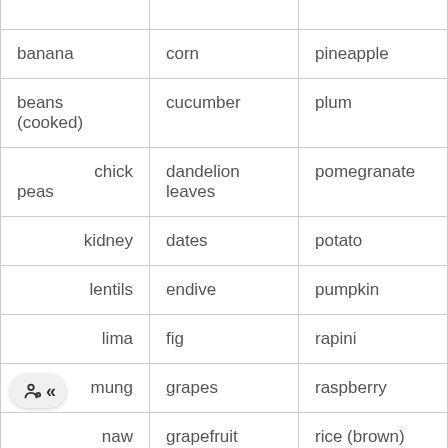|  |  | (red/green & hot) |
| banana | corn | pineapple |
| beans (cooked) | cucumber | plum |
| chick peas | dandelion leaves | pomegranate |
| kidney | dates | potato |
| lentils | endive | pumpkin |
| lima | fig | rapini |
| mung | grapes | raspberry |
| naw | grapefruit | rice (brown) |